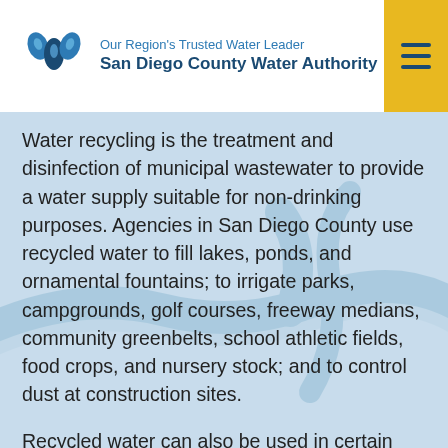Our Region's Trusted Water Leader — San Diego County Water Authority
Water recycling is the treatment and disinfection of municipal wastewater to provide a water supply suitable for non-drinking purposes. Agencies in San Diego County use recycled water to fill lakes, ponds, and ornamental fountains; to irrigate parks, campgrounds, golf courses, freeway medians, community greenbelts, school athletic fields, food crops, and nursery stock; and to control dust at construction sites.
Recycled water can also be used in certain industrial processes and for flushing toilets and urinals in non-residential buildings. Additional uses for recycled water are being identified and investigated such as the use of recycled water for street sweeping purposes.